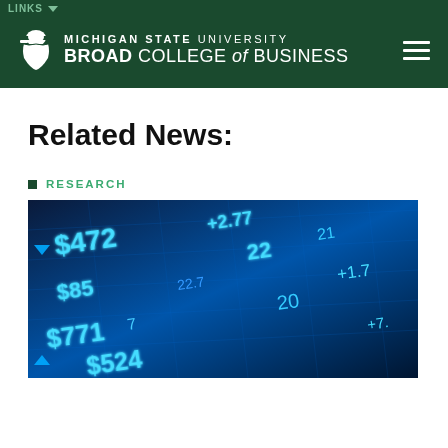Michigan State University Broad College of Business
Related News:
RESEARCH
[Figure (photo): Close-up of a blue-lit financial stock ticker display board showing various stock prices and numbers including $472, $85, $771, $524, +2.77, 22, +1.7]